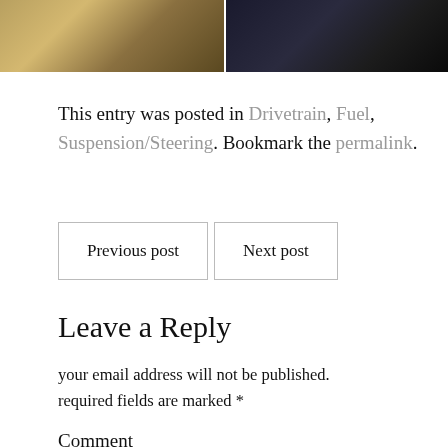[Figure (photo): Two side-by-side photos of vehicle mechanical parts — left shows a golden/brass fitting or nut, right shows a dark metal component]
This entry was posted in Drivetrain, Fuel, Suspension/Steering. Bookmark the permalink.
Previous post
Next post
Leave a Reply
your email address will not be published. required fields are marked *
Comment